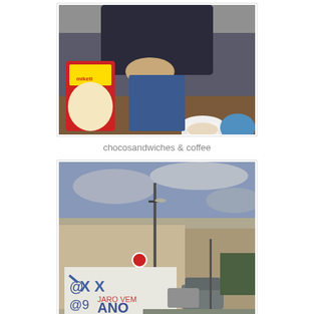[Figure (photo): Person sitting at a table with a red snack package (chocosandwiches) and a coffee cup on a saucer]
chocosandwiches & coffee
[Figure (photo): Street scene with a graffiti-covered wall showing text including ANO, STARBUCKS, with cars and power lines in background]
confusing combinations